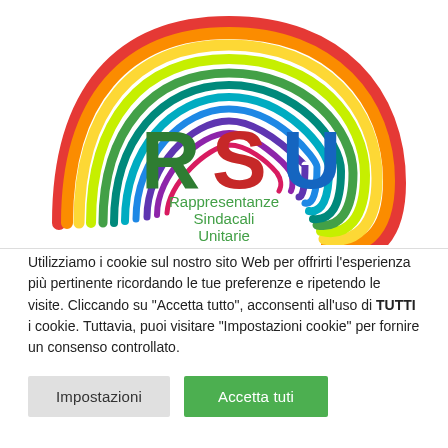[Figure (logo): RSU (Rappresentanze Sindacali Unitarie) logo with a rainbow spiral arc and the letters R (green), S (red), U (blue) with subtitle text in green: Rappresentanze Sindacali Unitarie]
Utilizziamo i cookie sul nostro sito Web per offrirti l'esperienza più pertinente ricordando le tue preferenze e ripetendo le visite. Cliccando su "Accetta tutto", acconsenti all'uso di TUTTI i cookie. Tuttavia, puoi visitare "Impostazioni cookie" per fornire un consenso controllato.
Impostazioni
Accetta tuti